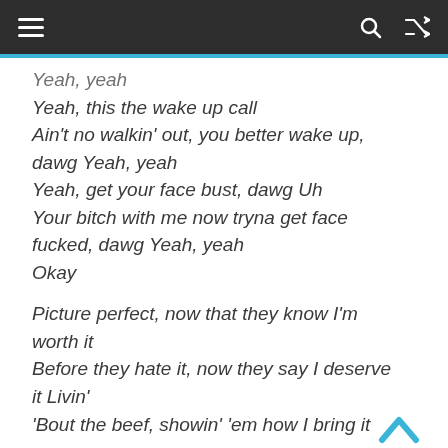≡  🔍  ⇌
Yeah, yeah
Yeah, this the wake up call
Ain't no walkin' out, you better wake up, dawg Yeah, yeah
Yeah, get your face bust, dawg Uh
Your bitch with me now tryna get face fucked, dawg Yeah, yeah
Okay

Picture perfect, now that they know I'm worth it
Before they hate it, now they say I deserve it Livin'
'Bout the beef, showin' 'em how I bring it